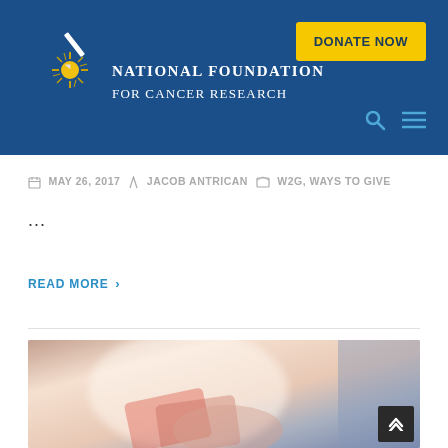National Foundation for Cancer Research
MAY 26, 2017  JACOB ANTRICAN  W2G, WAYS TO GIVE
...
READ MORE >
[Figure (photo): A person holding a credit card, blurred warm-toned background]